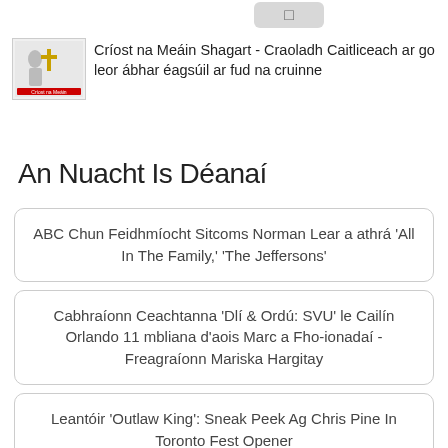[Figure (logo): Small logo image for Críost na Meáin Shagart Catholic media outlet]
Críost na Meáin Shagart - Craoladh Caitliceach ar go leor ábhar éagsúil ar fud na cruinne
An Nuacht Is Déanaí
ABC Chun Feidhmíocht Sitcoms Norman Lear a athrá 'All In The Family,' 'The Jeffersons'
Cabhraíonn Ceachtanna 'Dlí & Ordú: SVU' le Cailín Orlando 11 mbliana d'aois Marc a Fho-ionadaí - Freagraíonn Mariska Hargitay
Leantóir 'Outlaw King': Sneak Peek Ag Chris Pine In Toronto Fest Opener